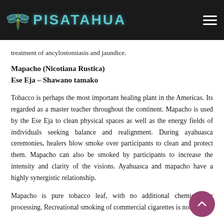PISATAHUA
treatment of ancylostomiasis and jaundice.
Mapacho (Nicotiana Rustica)
Ese Eja – Shawano tamako
Tobacco is perhaps the most important healing plant in the Americas. Its regarded as a master teacher throughout the continent. Mapacho is used by the Ese Eja to clean physical spaces as well as the energy fields of individuals seeking balance and realignment. During ayahuasca ceremonies, healers blow smoke over participants to clean and protect them. Mapacho can also be smoked by participants to increase the intensity and clarity of the visions. Ayahuasca and mapacho have a highly synergistic relationship.
Mapacho is pure tobacco leaf, with no additional chemicals or processing. Recreational smoking of commercial cigarettes is not